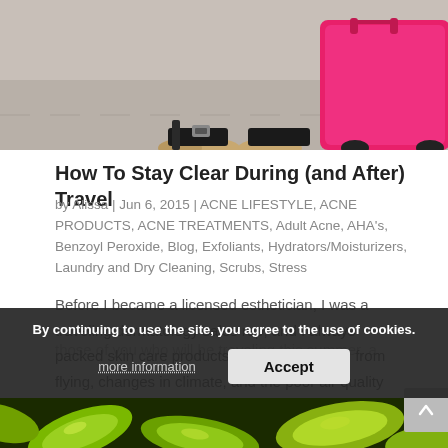[Figure (photo): Top portion of a travel photo showing feet/shoes near a pink suitcase on pavement, cropped at top of page]
How To Stay Clear During (and After) Travel
by Alissa | Jun 6, 2015 | ACNE LIFESTYLE, ACNE PRODUCTS, ACNE TREATMENTS, Adult Acne, AHA's, Benzoyl Peroxide, Blog, Exfoliants, Hydrators/Moisturizers, Laundry and Dry Cleaning, Scrubs, Stress
Before I became a licensed esthetician, I was a traveling dermatology sales rep, and I always packed skin care products to protect my skin from flying, changes in climate, and the poor air quality in hotel rooms. For those of you who will be traveling this summer, a
By continuing to use the site, you agree to the use of cookies.
more information
Accept
[Figure (photo): Bottom portion showing close-up of green/yellow bacteria or microorganism cells]